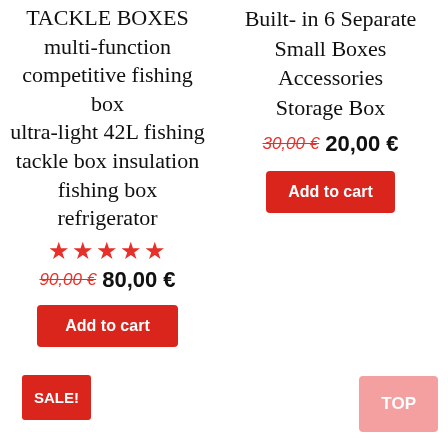TACKLE BOXES multi-function competitive fishing box ultra-light 42L fishing tackle box insulation fishing box refrigerator
★★★★★
90,00 € 80,00 €
Add to cart
Built- in 6 Separate Small Boxes Accessories Storage Box
30,00 € 20,00 €
Add to cart
SALE!
TOP